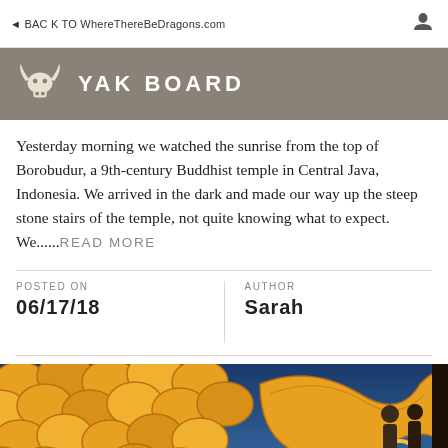BACK TO WhereThereBeDragons.com
YAK BOARD
Yesterday morning we watched the sunrise from the top of Borobudur, a 9th-century Buddhist temple in Central Java, Indonesia. We arrived in the dark and made our way up the steep stone stairs of the temple, not quite knowing what to expect. We......READ MORE
POSTED ON
06/17/18
AUTHOR
Sarah
[Figure (photo): Colorful mural or artwork featuring golden dragon/fish scales pattern in orange and gold tones with blue background, two people visible at the right edge]